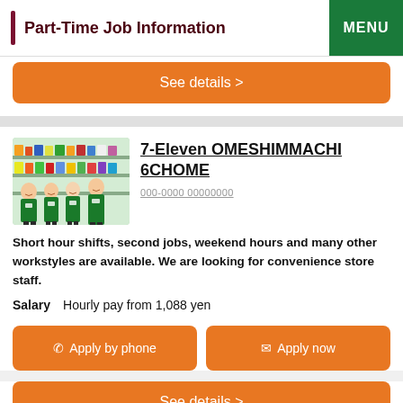Part-Time Job Information  MENU
See details >
[Figure (photo): Four convenience store staff members wearing green 7-Eleven uniforms standing in front of store shelves]
7-Eleven OMESHIMMACHI 6CHOME
000-0000 00000000
Short hour shifts, second jobs, weekend hours and many other workstyles are available. We are looking for convenience store staff.
Salary　 Hourly pay from 1,088 yen
☎︎ Apply by phone
✉ Apply now
See details >